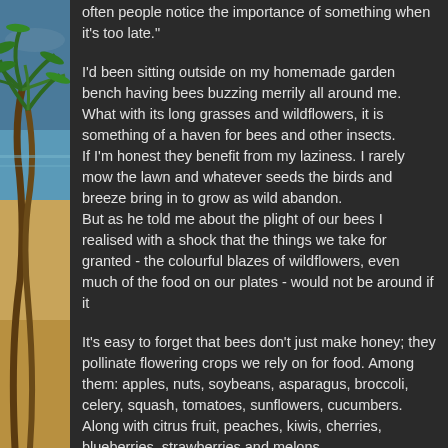[Figure (photo): Beach scene on the left side with palm trees, sandy shore, and ocean water visible as a vertical strip]
often people notice the importance of something when it's too late."
I'd been sitting outside on my homemade garden bench having bees buzzing merrily all around me. What with its long grasses and wildflowers, it is something of a haven for bees and other insects.
If I'm honest they benefit from my laziness. I rarely mow the lawn and whatever seeds the birds and breeze bring in to grow as wild abandon.
But as he told me about the plight of our bees I realised with a shock that the things we take for granted - the colourful blazes of wildflowers, even much of the food on our plates - would not be around if it
It's easy to forget that bees don't just make honey; they pollinate flowering crops we rely on for food. Among them: apples, nuts, soybeans, asparagus, broccoli, celery, squash, tomatoes, sunflowers, cucumbers. Along with citrus fruit, peaches, kiwis, cherries, blueberries, strawberries and melons.
Crops like oilseed rape (increasingly used in biofuels), alfalfa, and broadbeans also rely on visits by bees and other pollinators for the quality and quantity of fruits and seeds produced.